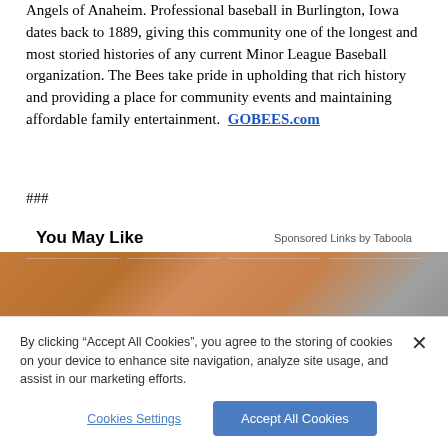Angels of Anaheim. Professional baseball in Burlington, Iowa dates back to 1889, giving this community one of the longest and most storied histories of any current Minor League Baseball organization. The Bees take pride in upholding that rich history and providing a place for community events and maintaining affordable family entertainment. GOBEES.com
###
You May Like
Sponsored Links by Taboola
[Figure (photo): Partial image strip showing a person's hand and shoulder, brownish/skin tones with gray gradient on right side]
By clicking "Accept All Cookies", you agree to the storing of cookies on your device to enhance site navigation, analyze site usage, and assist in our marketing efforts.
Cookies Settings | Accept All Cookies